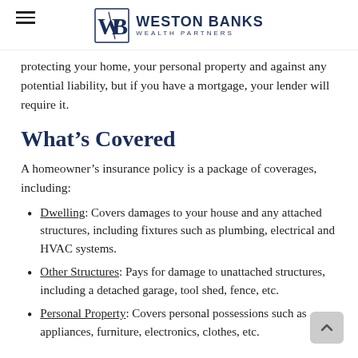WESTON BANKS WEALTH PARTNERS
protecting your home, your personal property and against any potential liability, but if you have a mortgage, your lender will require it.
What’s Covered
A homeowner’s insurance policy is a package of coverages, including:
Dwelling: Covers damages to your house and any attached structures, including fixtures such as plumbing, electrical and HVAC systems.
Other Structures: Pays for damage to unattached structures, including a detached garage, tool shed, fence, etc.
Personal Property: Covers personal possessions such as appliances, furniture, electronics, clothes, etc.